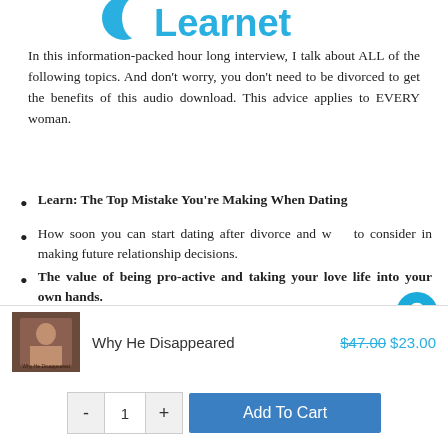[Figure (logo): Learnet logo with blue leaf/wing icon and bold teal text 'Learnet']
In this information-packed hour long interview, I talk about ALL of the following topics. And don't worry, you don't need to be divorced to get the benefits of this audio download. This advice applies to EVERY woman.
Learn: The Top Mistake You're Making When Dating
How soon you can start dating after divorce and what to consider in making future relationship decisions.
The value of being pro-active and taking your love life into your own hands.
What men REALLY think of women who ask them out.
| Product | Title | Price |
| --- | --- | --- |
| [image] | Why He Disappeared | $47.00 $23.00 |
- 1 + Add To Cart